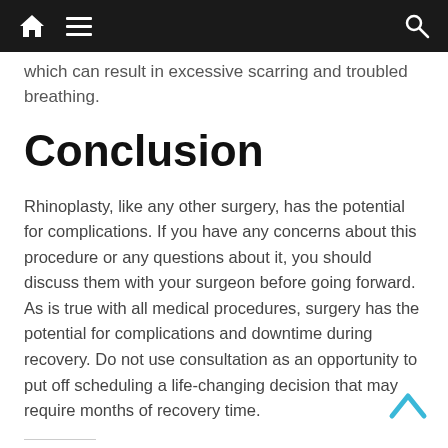Home | Menu | Search
which can result in excessive scarring and troubled breathing.
Conclusion
Rhinoplasty, like any other surgery, has the potential for complications. If you have any concerns about this procedure or any questions about it, you should discuss them with your surgeon before going forward. As is true with all medical procedures, surgery has the potential for complications and downtime during recovery. Do not use consultation as an opportunity to put off scheduling a life-changing decision that may require months of recovery time.